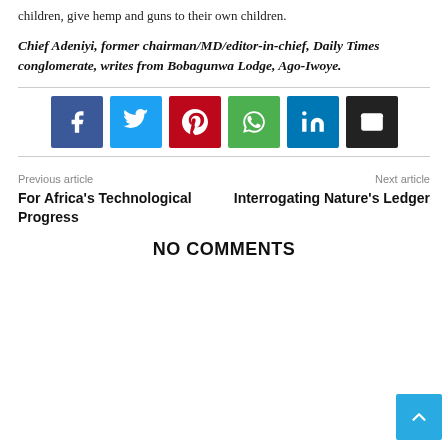children, give hemp and guns to their own children.
Chief Adeniyi, former chairman/MD/editor-in-chief, Daily Times conglomerate, writes from Bobagunwa Lodge, Ago-Iwoye.
[Figure (infographic): Social share buttons: Facebook (blue), Twitter (light blue), Pinterest (red), WhatsApp (green), LinkedIn (dark blue), Email (black)]
Previous article
For Africa’s Technological Progress
Next article
Interrogating Nature’s Ledger
NO COMMENTS